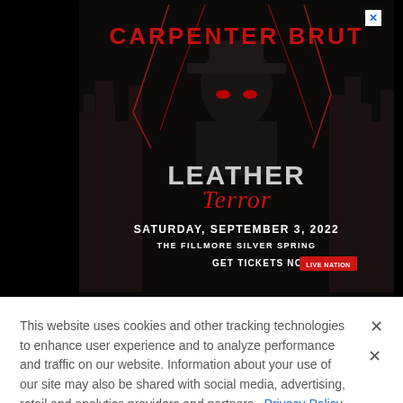[Figure (illustration): Carpenter Brut concert advertisement for Leather Terror tour. Dark background with city skyline, lightning, and a masked figure. Text reads: CARPENTER BRUT, LEATHER TERROR, SATURDAY, SEPTEMBER 3, 2022, THE FILLMORE SILVER SPRING, GET TICKETS NOW with Live Nation badge.]
This website uses cookies and other tracking technologies to enhance user experience and to analyze performance and traffic on our website. Information about your use of our site may also be shared with social media, advertising, retail and analytics providers and partners.  Privacy Policy
[Figure (illustration): Bottom banner ad for Carpenter Brut: SAT. SEPTEMBER 3 • THE FILLMORE SILVER SPRING, with red styled text and concert imagery.]